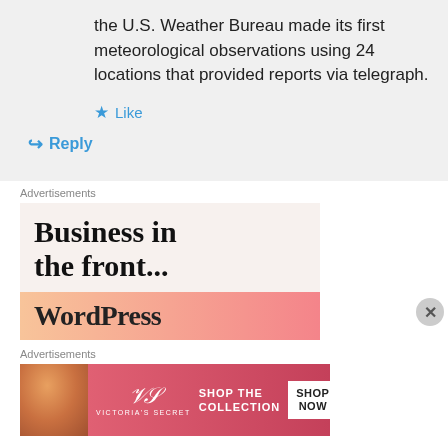the U.S. Weather Bureau made its first meteorological observations using 24 locations that provided reports via telegraph.
★ Like
↪ Reply
Advertisements
[Figure (screenshot): WordPress advertisement: 'Business in the front...' with WordPress logo on gradient background]
Advertisements
[Figure (screenshot): Victoria's Secret advertisement: 'Shop The Collection' with 'Shop Now' button and model photo]